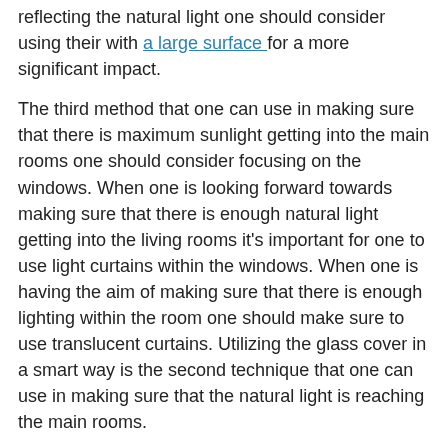reflecting the natural light one should consider using their with a large surface for a more significant impact.
The third method that one can use in making sure that there is maximum sunlight getting into the main rooms one should consider focusing on the windows. When one is looking forward towards making sure that there is enough natural light getting into the living rooms it's important for one to use light curtains within the windows. When one is having the aim of making sure that there is enough lighting within the room one should make sure to use translucent curtains. Utilizing the glass cover in a smart way is the second technique that one can use in making sure that the natural light is reaching the main rooms.
Citation: go to this web-site... READ MORE..
READ MORE